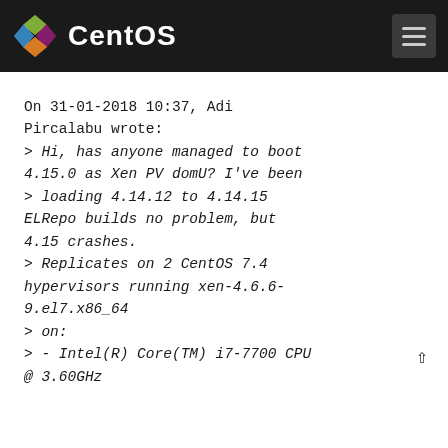CentOS
On 31-01-2018 10:37, Adi Pircalabu wrote:
> Hi, has anyone managed to boot 4.15.0 as Xen PV domU? I've been
> loading 4.14.12 to 4.14.15 ELRepo builds no problem, but 4.15 crashes.
> Replicates on 2 CentOS 7.4 hypervisors running xen-4.6.6-9.el7.x86_64
> on:
> - Intel(R) Core(TM) i7-7700 CPU @ 3.60GHz